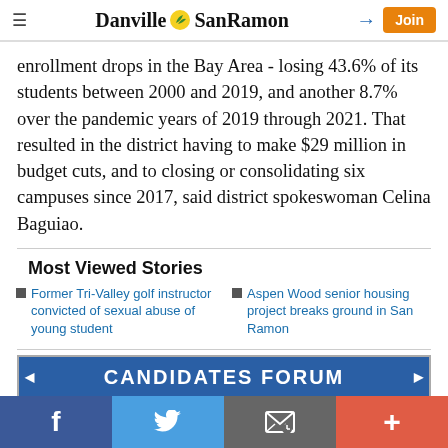Danville SanRamon — navigation header with hamburger menu, logo, login icon, and Join button
enrollment drops in the Bay Area - losing 43.6% of its students between 2000 and 2019, and another 8.7% over the pandemic years of 2019 through 2021. That resulted in the district having to make $29 million in budget cuts, and to closing or consolidating six campuses since 2017, said district spokeswoman Celina Baguiao.
Most Viewed Stories
Former Tri-Valley golf instructor convicted of sexual abuse of young student
Aspen Wood senior housing project breaks ground in San Ramon
[Figure (other): Advertisement banner reading CANDIDATES FORUM with blue background and white text]
Social sharing bar: Facebook, Twitter, Email, Plus